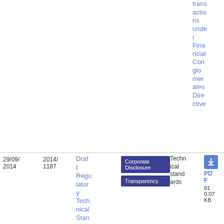transactions under Financial Conglomerates Directive
| Date | ID | Title | Tags | Type | File |
| --- | --- | --- | --- | --- | --- |
| 29/09/2014 | 2014/1187 | Draft Regulatory Technical Standard | Corporate Disclosure, Transparency | Technical standards | PDF 810.07 KB |